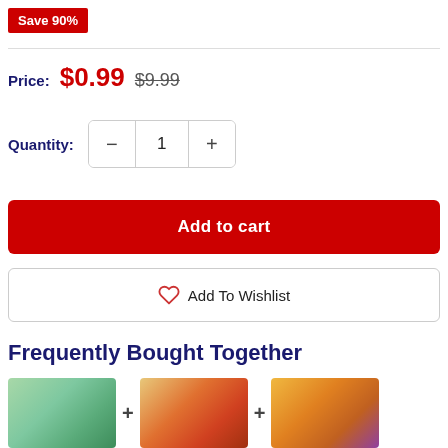Save 90%
Price: $0.99 $9.99
Quantity: 1
Add to cart
Add To Wishlist
Frequently Bought Together
[Figure (photo): Three children's books shown as frequently bought together items with plus signs between them]